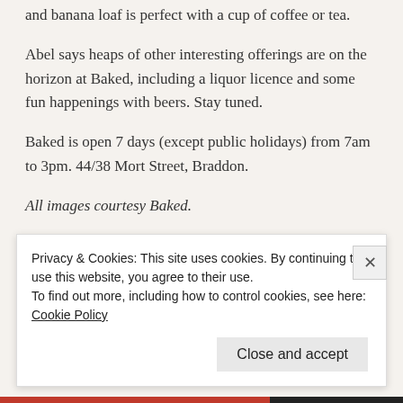and banana loaf is perfect with a cup of coffee or tea.
Abel says heaps of other interesting offerings are on the horizon at Baked, including a liquor licence and some fun happenings with beers. Stay tuned.
Baked is open 7 days (except public holidays) from 7am to 3pm. 44/38 Mort Street, Braddon.
All images courtesy Baked.
This entry was posted in LFW Your Canberra and tagged Bagels,
Privacy & Cookies: This site uses cookies. By continuing to use this website, you agree to their use. To find out more, including how to control cookies, see here: Cookie Policy